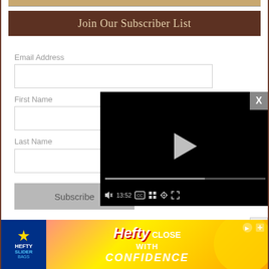[Figure (screenshot): Top portion of a website showing a partial image strip at top]
Join Our Subscriber List
Email Address
First Name
Last Name
Subscribe
[Figure (screenshot): Embedded video player overlay showing a paused video with play button, progress bar at about 60%, timestamp 13:52, and controls including mute, CC, grid, settings, and fullscreen buttons]
[Figure (screenshot): Hefty Slider Bags advertisement banner at the bottom with pink/yellow/orange gradient background and 'CLOSE WITH CONFIDENCE' text]